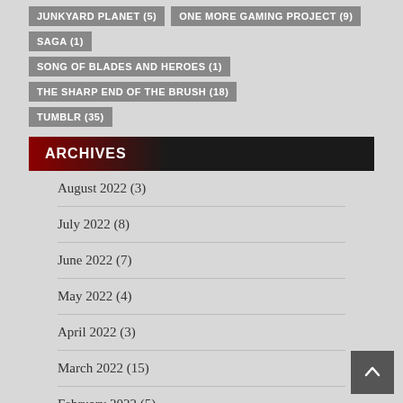JUNKYARD PLANET (5)
ONE MORE GAMING PROJECT (9)
SAGA (1)
SONG OF BLADES AND HEROES (1)
THE SHARP END OF THE BRUSH (18)
TUMBLR (35)
ARCHIVES
August 2022 (3)
July 2022 (8)
June 2022 (7)
May 2022 (4)
April 2022 (3)
March 2022 (15)
February 2022 (5)
January 2022 (11)
December 2021 (11)